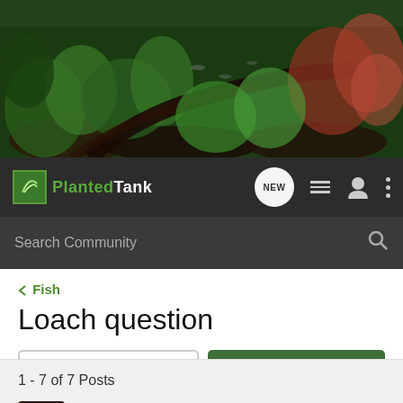[Figure (photo): Header banner photo of a planted aquarium tank with lush green and red aquatic plants, driftwood, and rocks]
PlantedTank — navigation bar with logo, NEW chat bubble, list icon, user icon, and three-dots menu
Search Community
< Fish
Loach question
→ Jump to Latest
+ Follow
1 - 7 of 7 Posts
kamikazi · Registered
Joined Sep 3, 2010 · 2,245 Posts